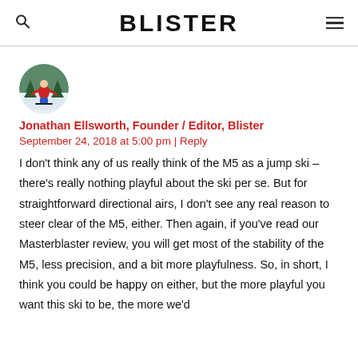BLISTER
[Figure (photo): Circular avatar photo of a skier in red jacket and blue pants on snowy slope, trees in background]
Jonathan Ellsworth, Founder / Editor, Blister
September 24, 2018 at 5:00 pm | Reply
I don't think any of us really think of the M5 as a jump ski – there's really nothing playful about the ski per se. But for straightforward directional airs, I don't see any real reason to steer clear of the M5, either. Then again, if you've read our Masterblaster review, you will get most of the stability of the M5, less precision, and a bit more playfulness. So, in short, I think you could be happy on either, but the more playful you want this ski to be, the more we'd